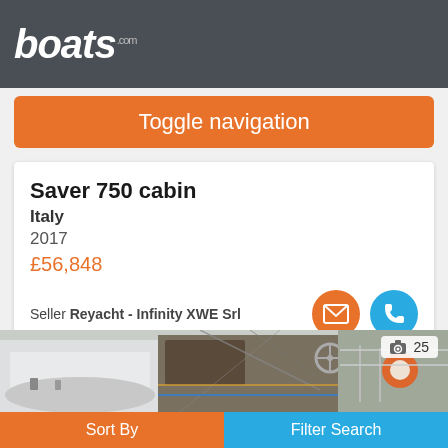boats.com
Toggle navigation
Saver 750 cabin
Italy
2017
£56,848
Seller Reyacht - Infinity XWE Srl
[Figure (photo): Photograph of a Saver 750 cabin boat docked at a marina, showing the deck, rigging, steering wheel, and hull]
Sort By
Filter Search